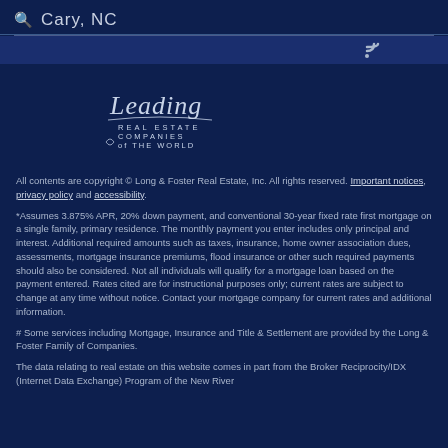Cary, NC
[Figure (logo): Leading Real Estate Companies of the World logo]
All contents are copyright © Long & Foster Real Estate, Inc. All rights reserved. Important notices, privacy policy and accessibility.
*Assumes 3.875% APR, 20% down payment, and conventional 30-year fixed rate first mortgage on a single family, primary residence. The monthly payment you enter includes only principal and interest. Additional required amounts such as taxes, insurance, home owner association dues, assessments, mortgage insurance premiums, flood insurance or other such required payments should also be considered. Not all individuals will qualify for a mortgage loan based on the payment entered. Rates cited are for instructional purposes only; current rates are subject to change at any time without notice. Contact your mortgage company for current rates and additional information.
# Some services including Mortgage, Insurance and Title & Settlement are provided by the Long & Foster Family of Companies.
The data relating to real estate on this website comes in part from the Broker Reciprocity/IDX (Internet Data Exchange) Program of the New River